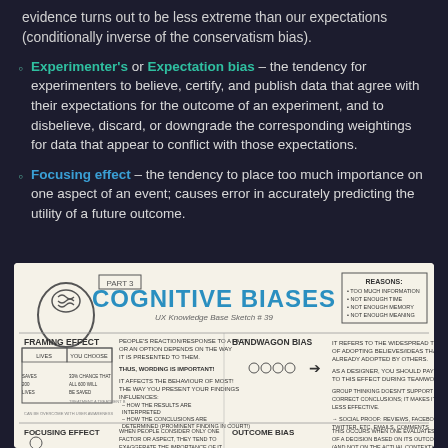evidence turns out to be less extreme than our expectations (conditionally inverse of the conservatism bias).
Experimenter's or Expectation bias – the tendency for experimenters to believe, certify, and publish data that agree with their expectations for the outcome of an experiment, and to disbelieve, discard, or downgrade the corresponding weightings for data that appear to conflict with those expectations.
Focusing effect – the tendency to place too much importance on one aspect of an event; causes error in accurately predicting the utility of a future outcome.
[Figure (infographic): Cognitive Biases infographic - Part 3, UX Knowledge Base Sketch #39. Shows hand-drawn illustrations of Framing Effect, Bandwagon Bias, Focusing Effect, and Outcome Bias with explanatory text and diagrams.]